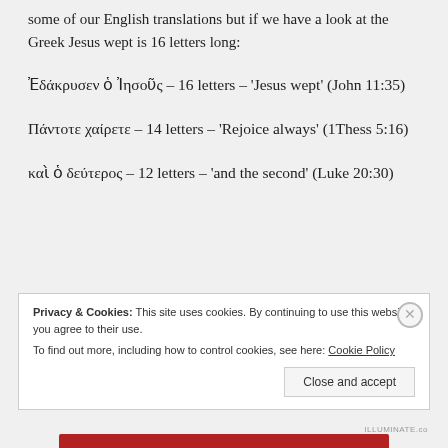some of our English translations but if we have a look at the Greek Jesus wept is 16 letters long:
Ἐδάκρυσεν ὁ Ἰησοῦς – 16 letters – 'Jesus wept' (John 11:35)
Πάντοτε χαίρετε – 14 letters – 'Rejoice always' (1Thess 5:16)
καὶ ὁ δεύτερος – 12 letters – 'and the second' (Luke 20:30)
Privacy & Cookies: This site uses cookies. By continuing to use this website, you agree to their use. To find out more, including how to control cookies, see here: Cookie Policy Close and accept